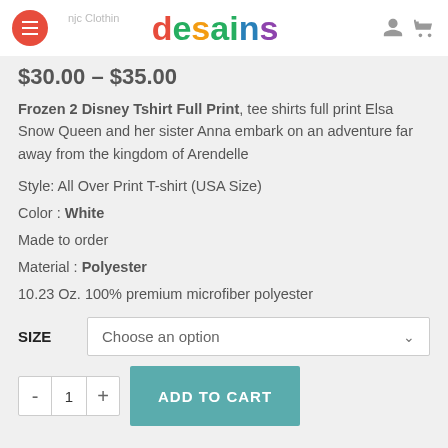desains
$30.00 – $35.00
Frozen 2 Disney Tshirt Full Print, tee shirts full print Elsa Snow Queen and her sister Anna embark on an adventure far away from the kingdom of Arendelle
Style: All Over Print T-shirt (USA Size)
Color : White
Made to order
Material : Polyester
10.23 Oz. 100% premium microfiber polyester
SIZE  Choose an option
- 1 +  ADD TO CART